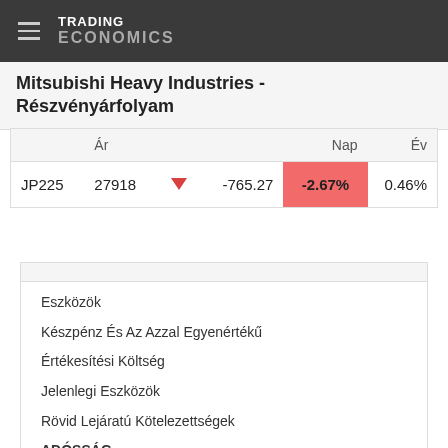TRADING ECONOMICS
Mitsubishi Heavy Industries - Részvényárfolyam
|  | Ár |  |  | Nap | Év |
| --- | --- | --- | --- | --- | --- |
| JP225 | 27918 | ▼ | -765.27 | -2.67% | 0.46% |
Eszközök
Készpénz És Az Azzal Egyenértékű
Értékesítési Költség
Jelenlegi Eszközök
Rövid Lejáratú Kötelezettségek
ADÓSSÁG
Osztalék Hozam
EBIT